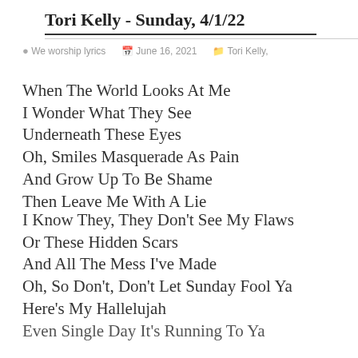Tori Kelly - Sunday, 4/1/22
We worship lyrics  June 16, 2021  Tori Kelly,
When The World Looks At Me
I Wonder What They See
Underneath These Eyes
Oh, Smiles Masquerade As Pain
And Grow Up To Be Shame
Then Leave Me With A Lie
I Know They, They Don't See My Flaws
Or These Hidden Scars
And All The Mess I've Made
Oh, So Don't, Don't Let Sunday Fool Ya
Here's My Hallelujah
Even Single Day It's Running To Ya